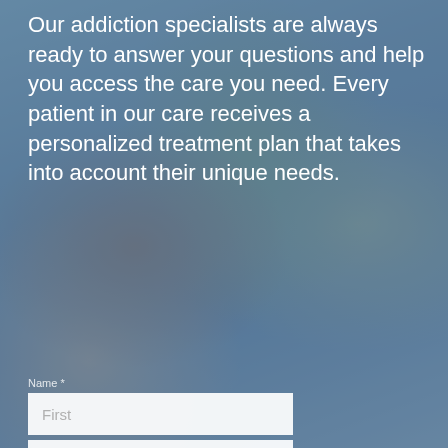[Figure (photo): Background photo of two people embracing outdoors, with trees and a path visible, overlaid with a blue-tinted semi-transparent layer]
Our addiction specialists are always ready to answer your questions and help you access the care you need. Every patient in our care receives a personalized treatment plan that takes into account their unique needs.
Name *
First
Last
Phone *
Phone
Email*
Email